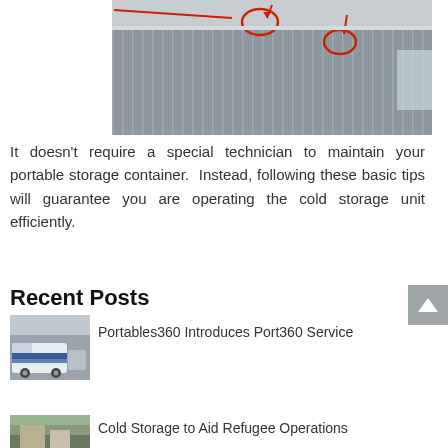[Figure (photo): Interior of a cold storage container with metal walls and ceiling with red circled annotations marking lights/fixtures and red arrows pointing to them]
It doesn’t require a special technician to maintain your portable storage container.  Instead, following these basic tips will guarantee you are operating the cold storage unit efficiently.
Recent Posts
[Figure (photo): Thumbnail image of a Portables360 service van]
Portables360 Introduces Port360 Service
[Figure (photo): Thumbnail image of an outdoor scene related to refugee operations]
Cold Storage to Aid Refugee Operations